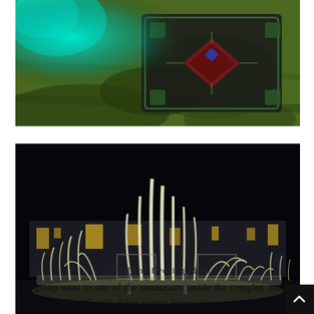[Figure (photo): Close-up photo of hands holding or touching a decorative embroidered textile/pillow with intricate patterns on a green fabric background with teal/turquoise light.]
[Figure (photo): Night-time photo of the Symphony Evening Show — illuminated water fountain display with multiple jets of water shooting upward against a dark sky, with a large building lit with yellow lights in the background. Watermark reads blissfulGuru.com]
Symphony Evening Show
The group went to one of the restaurants inside the complex and had an early dinner. We still didn't wanna leave so w